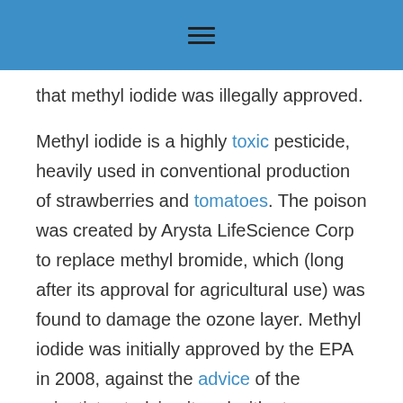≡
that methyl iodide was illegally approved.
Methyl iodide is a highly toxic pesticide, heavily used in conventional production of strawberries and tomatoes. The poison was created by Arysta LifeScience Corp to replace methyl bromide, which (long after its approval for agricultural use) was found to damage the ozone layer. Methyl iodide was initially approved by the EPA in 2008, against the advice of the scientists studying it and with strenuous opposition by toxicologists